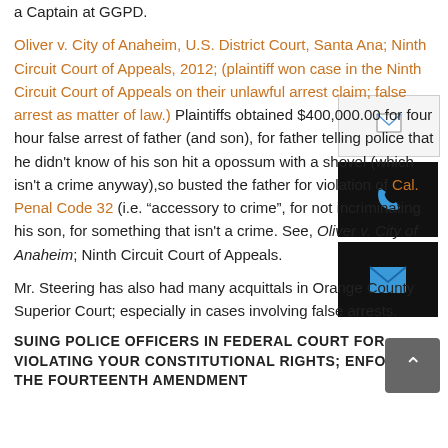Very nice. The GGPD officer who lead the raid on the Body Shop is now a Captain at GGPD.
Oliver v. City of Anaheim, U.S. District Court, Santa Ana; Ninth Circuit Court of Appeals, 2012; (plaintiff won case in the Ninth Circuit Court of Appeals on their unlawful arrest claim; false arrest as matter of law.) Plaintiffs obtained $400,000.00 for four hour false arrest of father (and son), for father telling police that he didn't know of his son hit a opossum with a shovel (which isn't a crime anyway),so busted the father for violation of Cal. Penal Code 32 (i.e. “accessory to crime”, for not incriminating his son, for something that isn't a crime. See, Oliver v. City of Anaheim; Ninth Circuit Court of Appeals.
Mr. Steering has also had many acquittals in Orange County Superior Court; especially in cases involving false arrests.
SUING POLICE OFFICERS IN FEDERAL COURT FOR VIOLATING YOUR CONSTITUTIONAL RIGHTS; ENFORCING THE FOURTEENTH AMENDMENT